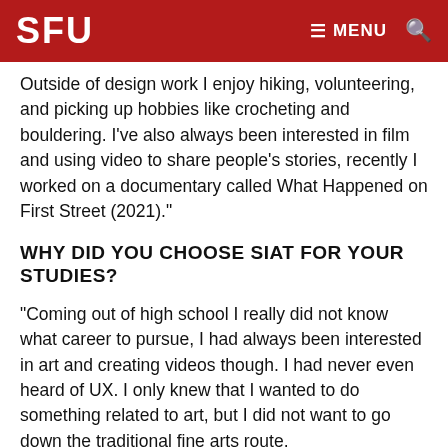SFU  ≡ MENU  🔍
Outside of design work I enjoy hiking, volunteering, and picking up hobbies like crocheting and bouldering. I've also always been interested in film and using video to share people's stories, recently I worked on a documentary called What Happened on First Street (2021)."
WHY DID YOU CHOOSE SIAT FOR YOUR STUDIES?
"Coming out of high school I really did not know what career to pursue, I had always been interested in art and creating videos though. I had never even heard of UX. I only knew that I wanted to do something related to art, but I did not want to go down the traditional fine arts route.